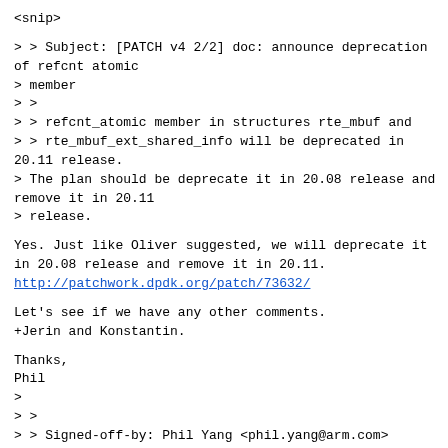<snip>
> > Subject: [PATCH v4 2/2] doc: announce deprecation of refcnt atomic
> member
> >
> > refcnt_atomic member in structures rte_mbuf and
> > rte_mbuf_ext_shared_info will be deprecated in
20.11 release.
> The plan should be deprecate it in 20.08 release and
remove it in 20.11
> release.
Yes. Just like Oliver suggested, we will deprecate it
in 20.08 release and remove it in 20.11.
http://patchwork.dpdk.org/patch/73632/
Let's see if we have any other comments.
+Jerin and Konstantin.
Thanks,
Phil
>
> >
> > Signed-off-by: Phil Yang <phil.yang@arm.com>
> > ---
> >  doc/guides/rel_notes/deprecation.rst | 6 ++++++
> >  1 file changed, 6 insertions(+)
> >
> > diff  git a/doc/guides/rel_notes/deprecation.rst